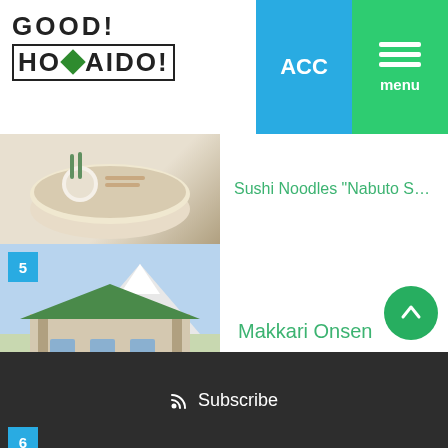GOOD! HOKKAIDO!
[Figure (photo): Partial food photo showing a bowl of sushi noodles, cut off at top]
Sushi Noodles 'Nabuto Seimenjo in Yoi...'
[Figure (photo): Item 5: Makkari Onsen building with mountain in background and green roof]
Makkari Onsen
[Figure (photo): Item 6: Cape Sky in Rebun Island showing blue sea, rocky cape, and green grass]
Cape Sky in Rebun Island
Subscribe